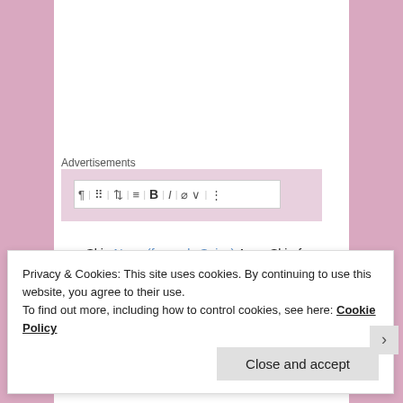Advertisements
[Figure (screenshot): WordPress block editor toolbar with paragraph, list, heading, bold, italic, link, and more options icons]
~♥~ Skin Nuve (formerly Spicy) Anya Skin for Lelutka Evolution – Nordic tones – pale  browless – BoM only – Marketplace Demo
Brows Simple Bloom JuliaAir Unicorn Gift for Lelutka – Marketplace
Privacy & Cookies: This site uses cookies. By continuing to use this website, you agree to their use.
To find out more, including how to control cookies, see here: Cookie Policy
Close and accept